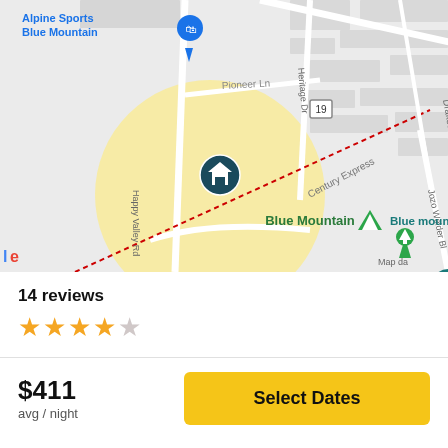[Figure (map): Google Maps view showing Blue Mountain area with a home pin marker in a yellow highlighted circle, streets including Settlers Way, Pioneer Ln, Heritage Dr, Happy Valley Rd, Century Express (dotted red line), and landmarks: Alpine Sports Blue Mountain, Blue Mountain, Blue mountain parking, Ridge Runner Mountain Coaster, Timber Challenge High Ropes, road 19, Jozo Weider Bl, Drakes Path.]
14 reviews
[Figure (other): 4 filled yellow stars and 1 empty/grey star rating display]
$411
avg / night
Select Dates